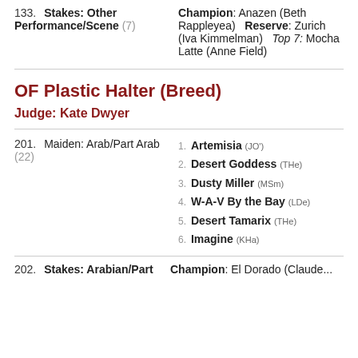133. Stakes: Other Performance/Scene (7) | Champion: Anazen (Beth Rappleyea)  Reserve: Zurich (Iva Kimmelman)  Top 7: Mocha Latte (Anne Field)
OF Plastic Halter (Breed)
Judge: Kate Dwyer
201. Maiden: Arab/Part Arab (22) | 1. Artemisia (JO')  2. Desert Goddess (THe)  3. Dusty Miller (MSm)  4. W-A-V By the Bay (LDe)  5. Desert Tamarix (THe)  6. Imagine (KHa)
202. Stakes: Arabian/Part... | Champion: El Dorado (Claude...